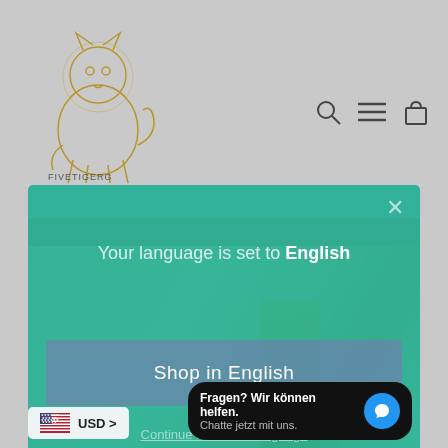[Figure (screenshot): Website screenshot showing a lion logo in top left, navigation icons (search, menu, cart) in top right, and an orange/amber header strip. Below is a clothing image with warm tones.]
[Figure (screenshot): Modal dialog with teal/green background overlaying the website. Contains language selection prompt.]
Your language is set to English
Shop in English
Continue in current language
Fragen? Wir können helfen. Chatte jetzt mit uns.
USD >